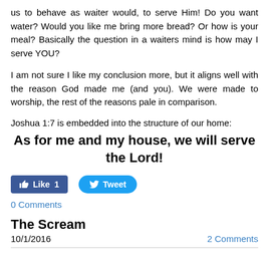us to behave as waiter would, to serve Him! Do you want water? Would you like me bring more bread? Or how is your meal? Basically the question in a waiters mind is how may I serve YOU?
I am not sure I like my conclusion more, but it aligns well with the reason God made me (and you). We were made to worship, the rest of the reasons pale in comparison.
Joshua 1:7 is embedded into the structure of our home:
As for me and my house, we will serve the Lord!
[Figure (other): Facebook Like button showing count 1 and Twitter Tweet button]
0 Comments
The Scream
10/1/2016   2 Comments